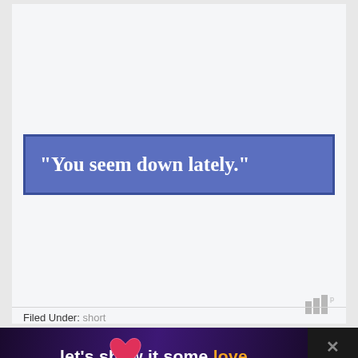[Figure (other): Blue banner with bold white serif quote text reading: "You seem down lately."]
Filed Under: short
[Figure (infographic): Advertisement banner with dark purple background reading 'let's show it some love' with a pink heart graphic. Right side has dark close panel with X icon and watermark bars.]